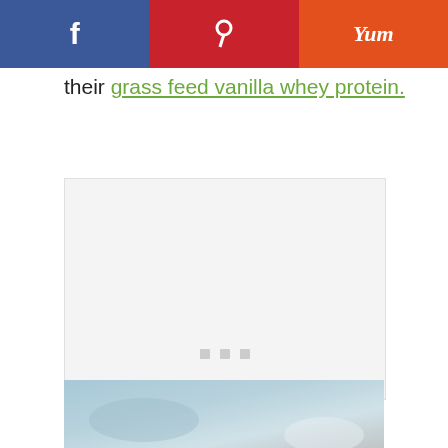[Figure (other): Social sharing bar with three buttons: Facebook (blue), Pinterest (red), and Yummly (orange)]
their grass feed vanilla whey protein.
[Figure (other): Large light gray advertisement/content placeholder box with three small gray dots in the center]
[Figure (photo): Partial photo at the bottom of the page showing what appears to be a bowl or cup with a light blue-gray background]